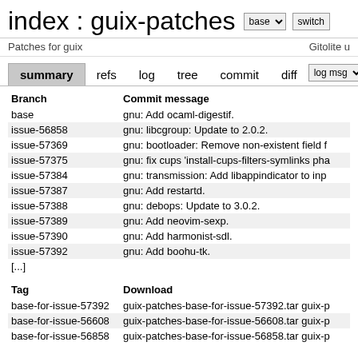index : guix-patches
Patches for guix   Gitolite u...
summary  refs  log  tree  commit  diff  log msg
| Branch | Commit message |
| --- | --- |
| base | gnu: Add ocaml-digestif. |
| issue-56858 | gnu: libcgroup: Update to 2.0.2. |
| issue-57369 | gnu: bootloader: Remove non-existent field f... |
| issue-57375 | gnu: fix cups 'install-cups-filters-symlinks pha... |
| issue-57384 | gnu: transmission: Add libappindicator to inp... |
| issue-57387 | gnu: Add restartd. |
| issue-57388 | gnu: debops: Update to 3.0.2. |
| issue-57389 | gnu: Add neovim-sexp. |
| issue-57390 | gnu: Add harmonist-sdl. |
| issue-57392 | gnu: Add boohu-tk. |
| [...] |  |
| Tag | Download |
| --- | --- |
| base-for-issue-57392 | guix-patches-base-for-issue-57392.tar  guix-p... |
| base-for-issue-56608 | guix-patches-base-for-issue-56608.tar  guix-p... |
| base-for-issue-56858 | guix-patches-base-for-issue-56858.tar  guix-p... |